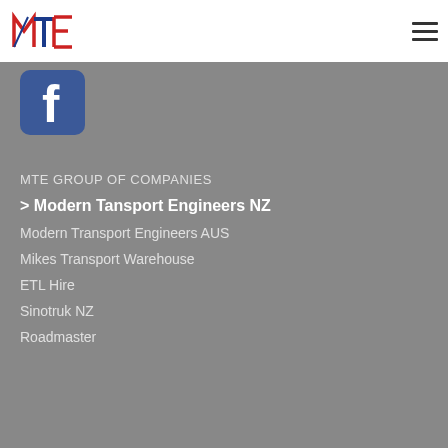[Figure (logo): MTE logo with red M, blue T, red E letters and triangular graphic elements, on white navigation bar]
[Figure (illustration): Facebook logo icon - blue rounded square with white letter f]
MTE GROUP OF COMPANIES
> Modern Tansport Engineers NZ
Modern Transport Engineers AUS
Mikes Transport Warehouse
ETL Hire
Sinotruk NZ
Roadmaster